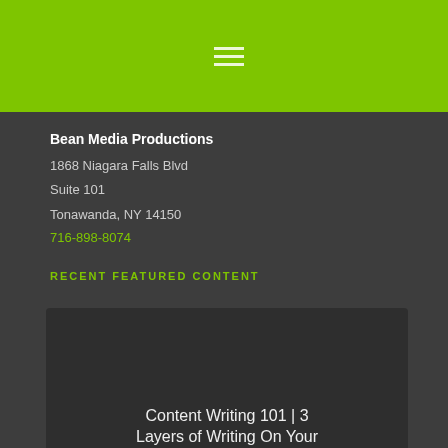[Figure (other): Green header bar with hamburger menu icon (three horizontal white lines)]
Bean Media Productions
1868 Niagara Falls Blvd
Suite 101
Tonawanda, NY 14150
716-898-8074
RECENT FEATURED CONTENT
Content Writing 101 | 3 Layers of Writing On Your